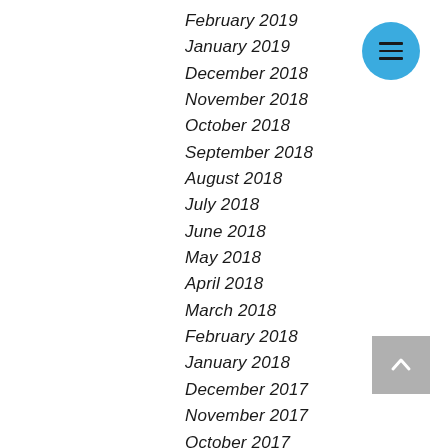February 2019
January 2019
December 2018
November 2018
October 2018
September 2018
August 2018
July 2018
June 2018
May 2018
April 2018
March 2018
February 2018
January 2018
December 2017
November 2017
October 2017
September 2017
August 2017
[Figure (other): Blue circular hamburger menu button with three horizontal lines]
[Figure (other): Grey square back-to-top button with upward chevron arrow]